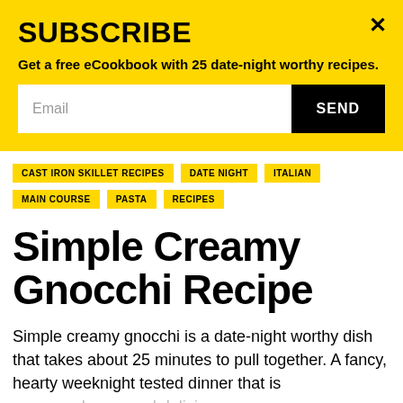SUBSCRIBE
Get a free eCookbook with 25 date-night worthy recipes.
CAST IRON SKILLET RECIPES
DATE NIGHT
ITALIAN
MAIN COURSE
PASTA
RECIPES
Simple Creamy Gnocchi Recipe
Simple creamy gnocchi is a date-night worthy dish that takes about 25 minutes to pull together. A fancy, hearty weeknight tested dinner that is creamy, cheesy and delicious.